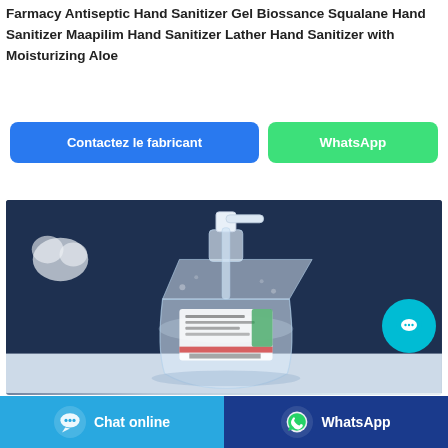Farmacy Antiseptic Hand Sanitizer Gel Biossance Squalane Hand Sanitizer Maapilim Hand Sanitizer Lather Hand Sanitizer with Moisturizing Aloe
Contactez le fabricant
WhatsApp
[Figure (photo): A clear hand sanitizer gel bottle with a pump dispenser, sitting on a white surface against a dark navy blue background, with white flowers partially visible on the left.]
Chat online
WhatsApp